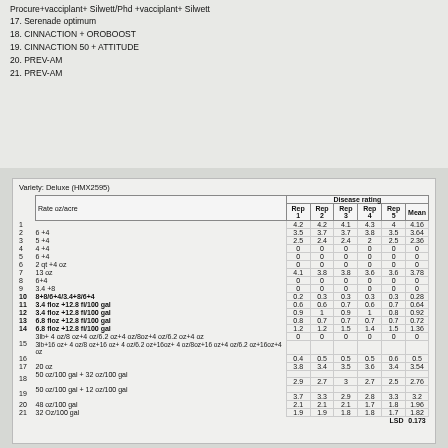Procure+vacciplant+ Silwett/Phd +vacciplant+ Silwett
17. Serenade optimum
18. CINNACTION + OROBOOST
19. CINNACTION 50 + ATTITUDE
20. PREV-AM
21. PREV-AM
Variety: Deluxe (HMX2595)
|  | Rate oz/acre | Rep 1 | Rep 2 | Rep 3 | Rep 4 | Rep 5 | Mean |
| --- | --- | --- | --- | --- | --- | --- | --- |
| 1 |  | 4.2 | 4.2 | 4.1 | 4.3 | 4 | 4.16 |
| 2 | 6 +4 | 3.5 | 3.7 | 3.7 | 3.8 | 3.5 | 3.64 |
| 3 | 5 +4 | 2.5 | 2.4 | 2.4 | 2 | 2.5 | 2.36 |
| 4 | 4 +4 | 0 | 0 | 0 | 0 | 0 | 0 |
| 5 | 6 +4 | 0 | 0 | 0 | 0 | 0 | 0 |
| 6 | 2 qt +4 oz | 0 | 0 | 0 | 0 | 0 | 0 |
| 7 | 13 oz | 4.1 | 3.8 | 3.8 | 3.6 | 3.6 | 3.78 |
| 8 | 6+4 | 0 | 0 | 0 | 0 | 0 | 0 |
| 9 | 3.4 +8 | 0 | 0 | 0 | 0 | 0 | 0 |
| 10 | 8+8/6+4/3.4+8/6+4 | 0.2 | 0.3 | 0.3 | 0.3 | 0.3 | 0.28 |
| 11 | 3.4 floz +12.8 fl/100 gal | 0.6 | 0.6 | 0.7 | 0.6 | 0.7 | 0.64 |
| 12 | 3.4 floz +12.8 fl/100 gal | 0.9 | 1 | 0.9 | 1 | 0.8 | 0.92 |
| 13 | 6.8 floz +12.8 fl/100 gal | 0.8 | 0.7 | 0.7 | 0.7 | 0.7 | 0.72 |
| 14 | 6.8 floz +12.8 fl/100 gal | 1.2 | 1.2 | 1.5 | 1.4 | 1.5 | 1.36 |
| 15 | 3lb+ 4 oz/8 oz+4 oz/6.2 oz+4 oz/8oz+4 oz/6.2 oz+4 oz | 0 | 0 | 0 | 0 | 0 | 0 |
| 16 | 3lb+16 oz+ 4 oz/8 oz+16 oz+ 4 oz/6.2 oz+16oz+ 4 oz/8oz+16 oz+4 oz/6.2 oz+16oz+4 oz | 0.4 | 0.5 | 0.5 | 0.5 | 0.6 | 0.5 |
| 17 | 20 oz | 3.8 | 3.4 | 3.5 | 3.6 | 3.4 | 3.54 |
| 18 | 50 oz/100 gal + 32 oz/100 gal | 2.9 | 2.7 | 3 | 2.7 | 2.5 | 2.76 |
| 19 | 50 oz/100 gal + 12 oz/100 gal | 3.7 | 3.3 | 2.9 | 2.8 | 3.3 | 3.2 |
| 20 | 48 oz/100 gal | 2.1 | 2.1 | 2.1 | 1.7 | 1.8 | 1.96 |
| 21 | 32 Oz/100 gal | 1.9 | 1.9 | 1.8 | 1.8 | 1.7 | 1.82 |
|  | LSD |  |  |  |  |  | 0.173 |